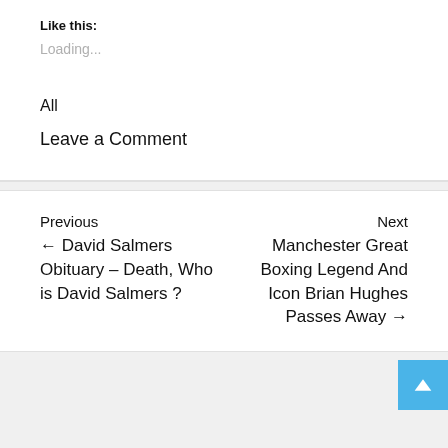Like this:
Loading...
All
Leave a Comment
Previous ← David Salmers Obituary – Death, Who is David Salmers ?
Next Manchester Great Boxing Legend And Icon Brian Hughes Passes Away →